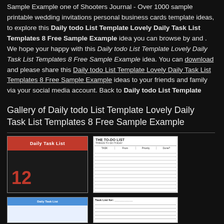Sample Example one of Shooters Journal - Over 1000 sample printable wedding invitations personal business cards template ideas, to explore this Daily todo List Template Lovely Daily Task List Templates 8 Free Sample Example idea you can browse by and . We hope your happy with this Daily todo List Template Lovely Daily Task List Templates 8 Free Sample Example idea. You can download and please share this Daily todo List Template Lovely Daily Task List Templates 8 Free Sample Example ideas to your friends and family via your social media account. Back to Daily todo List Template
Gallery of Daily todo List Template Lovely Daily Task List Templates 8 Free Sample Example
[Figure (illustration): Thumbnail of a daily task list with red header and number 12]
[Figure (illustration): Thumbnail of a to-do list template with columns for tasks, time, priority, and done]
[Figure (illustration): Thumbnail of a blue-header daily task list template]
[Figure (illustration): Thumbnail of a task list template with lined rows]